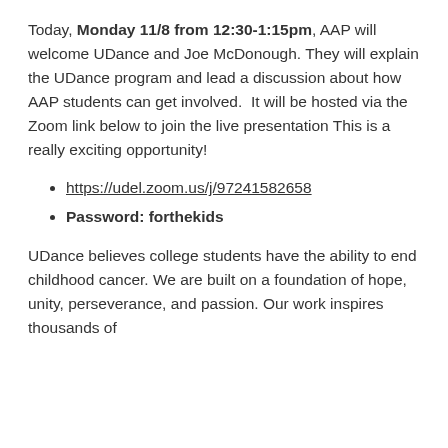Today, Monday 11/8 from 12:30-1:15pm, AAP will welcome UDance and Joe McDonough. They will explain the UDance program and lead a discussion about how AAP students can get involved.  It will be hosted via the Zoom link below to join the live presentation This is a really exciting opportunity!
https://udel.zoom.us/j/97241582658
Password: forthekids
UDance believes college students have the ability to end childhood cancer. We are built on a foundation of hope, unity, perseverance, and passion. Our work inspires thousands of